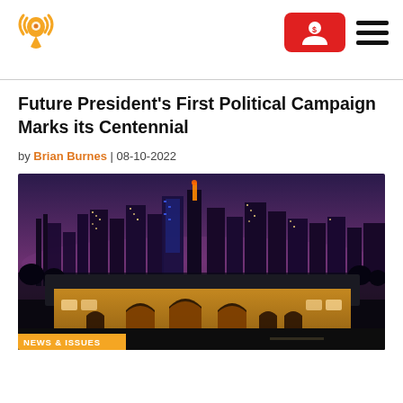Logo and navigation header with donate button
Future President's First Political Campaign Marks its Centennial
by Brian Burnes | 08-10-2022
[Figure (photo): Night cityscape of Kansas City skyline with Union Station in the foreground, illuminated at dusk with purple sky. A label at the bottom reads NEWS & ISSUES.]